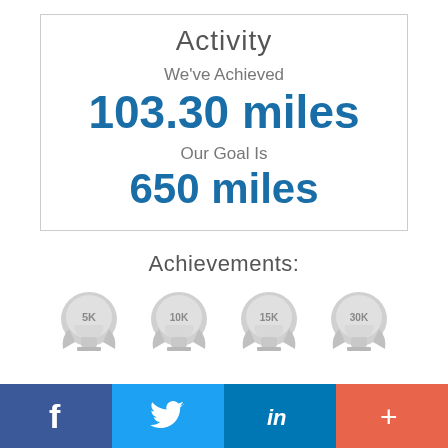Activity
We've Achieved
103.30 miles
Our Goal Is
650 miles
Achievements:
[Figure (illustration): Four trophy/badge icons labeled 5K, 10K, 15K, 30K in gray]
f  (Twitter bird)  in  +